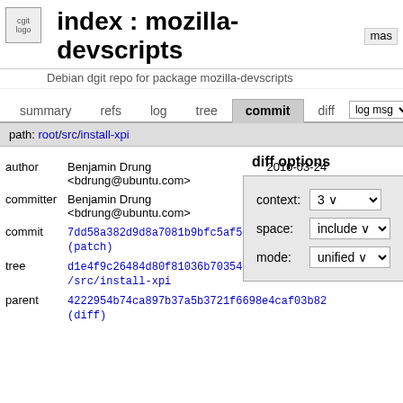index : mozilla-devscripts
Debian dgit repo for package mozilla-devscripts
summary  refs  log  tree  commit  diff  log msg
path: root/src/install-xpi
diff options
| label | value |
| --- | --- |
| context: | 3 |
| space: | include |
| mode: | unified |
| key | value | date |
| --- | --- | --- |
| author | Benjamin Drung <bdrung@ubuntu.com> | 2010-03-24 20:58:55 +0100 |
| committer | Benjamin Drung <bdrung@ubuntu.com> | 2010-03-24 20:58:55 +0100 |
| commit | 7dd58a382d9d8a7081b9bfc5af5a42ab9977d6bf (patch) |  |
| tree | d1e4f9c26484d80f81036b703546c3dd8e27cb14 /src/install-xpi |  |
| parent | 4222954b74ca897b37a5b3721f6698e4caf03b82 (diff) |  |